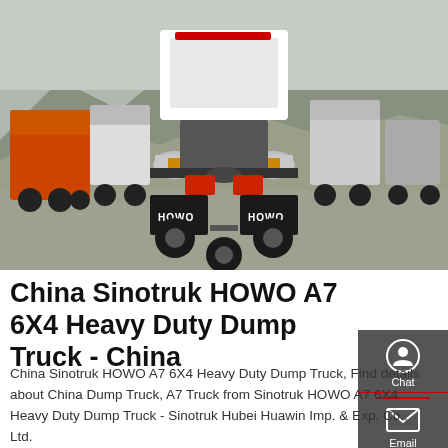[Figure (photo): Rear view of a white Sinotruk HOWO heavy duty truck with 'HOWO' text on mud flaps, surrounded by multiple other trucks in a lot with mountainous background.]
China Sinotruk HOWO A7 6X4 Heavy Duty Dump Truck - China
China Sinotruk HOWO A7 6X4 Heavy Duty Dump Truck, Find details about China Dump Truck, A7 Truck from Sinotruk HOWO A7 6X4 Heavy Duty Dump Truck - Sinotruk Hubei Huawin Imp. & Exp. Co., Ltd.